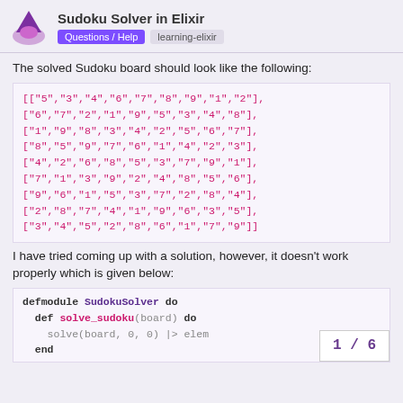Sudoku Solver in Elixir | Questions / Help | learning-elixir
The solved Sudoku board should look like the following:
[["5","3","4","6","7","8","9","1","2"],
["6","7","2","1","9","5","3","4","8"],
["1","9","8","3","4","2","5","6","7"],
["8","5","9","7","6","1","4","2","3"],
["4","2","6","8","5","3","7","9","1"],
["7","1","3","9","2","4","8","5","6"],
["9","6","1","5","3","7","2","8","4"],
["2","8","7","4","1","9","6","3","5"],
["3","4","5","2","8","6","1","7","9"]]
I have tried coming up with a solution, however, it doesn't work properly which is given below:
defmodule SudokuSolver do
  def solve_sudoku(board) do
    solve(board, 0, 0) |> elem
  end